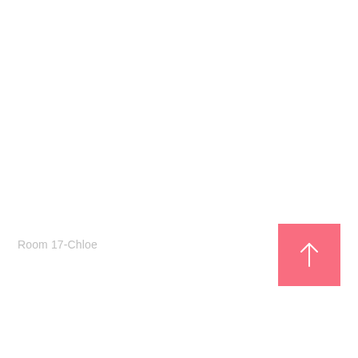Room 17-Chloe
[Figure (illustration): Pink square button with a white upward-pointing arrow in the center, positioned in the lower right area of the page]